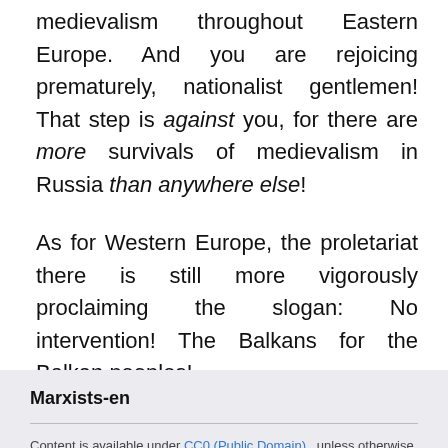medievalism throughout Eastern Europe. And you are rejoicing prematurely, nationalist gentlemen! That step is against you, for there are more survivals of medievalism in Russia than anywhere else!
As for Western Europe, the proletariat there is still more vigorously proclaiming the slogan: No intervention! The Balkans for the Balkan peoples!
Marxists-en
Content is available under CC0 (Public Domain) unless otherwise noted.
Desktop